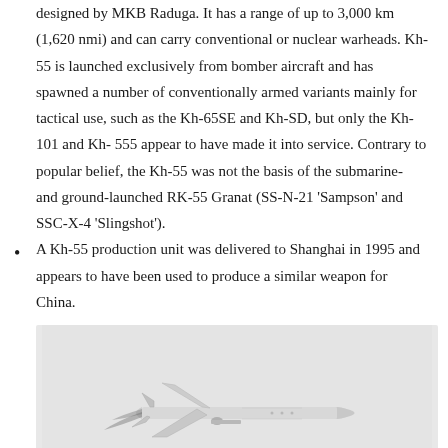designed by MKB Raduga. It has a range of up to 3,000 km (1,620 nmi) and can carry conventional or nuclear warheads. Kh-55 is launched exclusively from bomber aircraft and has spawned a number of conventionally armed variants mainly for tactical use, such as the Kh-65SE and Kh-SD, but only the Kh-101 and Kh-555 appear to have made it into service. Contrary to popular belief, the Kh-55 was not the basis of the submarine- and ground-launched RK-55 Granat (SS-N-21 'Sampson' and SSC-X-4 'Slingshot').
A Kh-55 production unit was delivered to Shanghai in 1995 and appears to have been used to produce a similar weapon for China.
[Figure (photo): Photograph or rendering of a Kh-55 cruise missile model, shown from a slightly elevated angle against a light gray background. The missile is white/gray with swept wings and tail fins visible.]